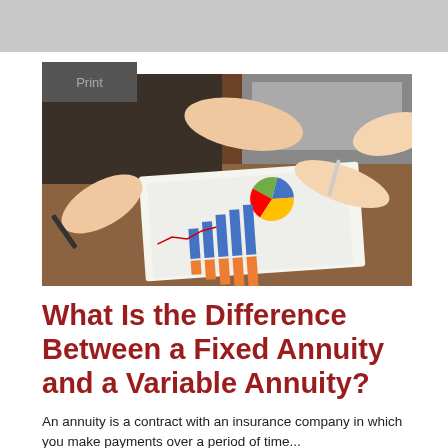[Figure (photo): Business people reviewing financial charts and reports on a desk, with hands pointing at a pie chart and a bar chart document. A pen and stylus are visible.]
What Is the Difference Between a Fixed Annuity and a Variable Annuity?
An annuity is a contract with an insurance company in which you make payments over a period of time...